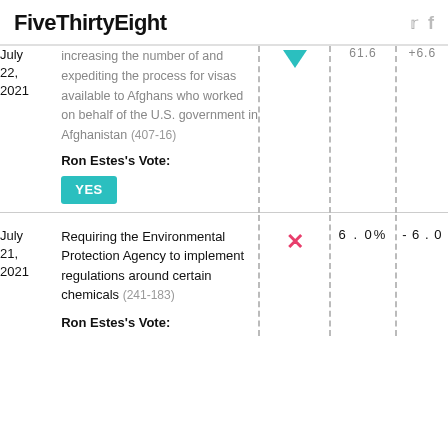FiveThirtyEight
| Date | Description | Vote Icon | % Support | Score |
| --- | --- | --- | --- | --- |
| July 22, 2021 | increasing the number of and expediting the process for visas available to Afghans who worked on behalf of the U.S. government in Afghanistan (407-16)
Ron Estes's Vote: YES | ▼ | 61.6 | +6.6 |
| July 21, 2021 | Requiring the Environmental Protection Agency to implement regulations around certain chemicals (241-183)
Ron Estes's Vote: | ✗ | 6.0% | -6.0 |